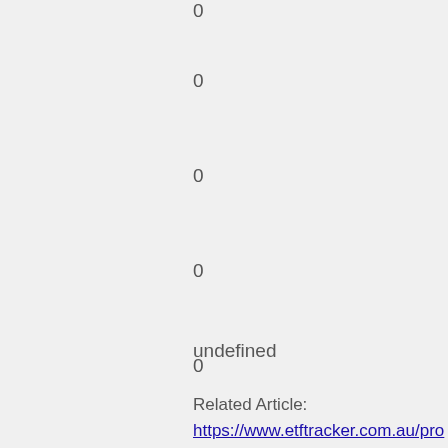0
0
0
0
0
1
0
undefined
Related Article: https://www.etftracker.com.au/profile/ramonlese125713/profile